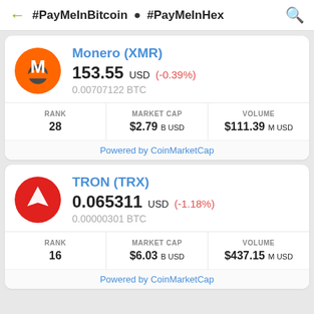#PayMeInBitcoin • #PayMeInHex
Monero (XMR) 153.55 USD (-0.39%) 0.00707122 BTC
| RANK | MARKET CAP | VOLUME |
| --- | --- | --- |
| 28 | $2.79 B USD | $111.39 M USD |
Powered by CoinMarketCap
TRON (TRX) 0.065311 USD (-1.18%) 0.00000301 BTC
| RANK | MARKET CAP | VOLUME |
| --- | --- | --- |
| 16 | $6.03 B USD | $437.15 M USD |
Powered by CoinMarketCap